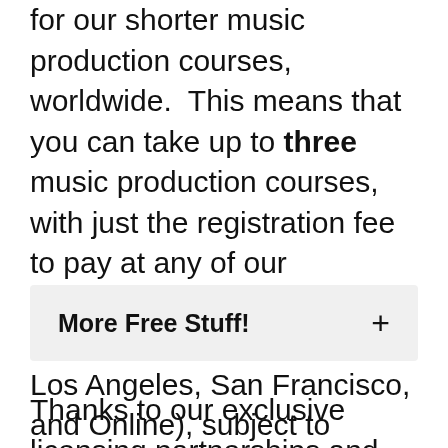for our shorter music production courses, worldwide.  This means that you can take up to three music production courses, with just the registration fee to pay at any of our participating locations (London, Miami, New York, Los Angeles, San Francisco, and Online), subject to availability, with no cap on when you'd like to take each course.  Our offer is valid as long as there is availability at your chosen participating school.
More Free Stuff!
Thanks to our exclusive licensing partnerships and certified status